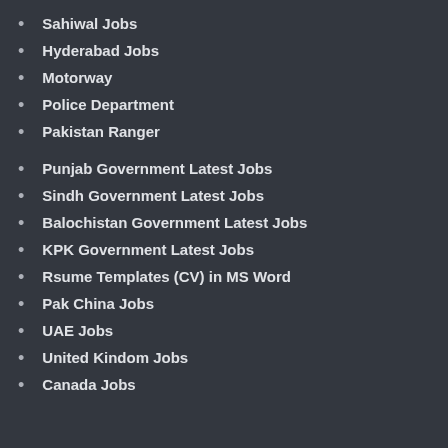Sahiwal Jobs
Hyderabad Jobs
Motorway
Police Department
Pakistan Ranger
Punjab Government Latest Jobs
Sindh Government Latest Jobs
Balochistan Government Latest Jobs
KPK Government Latest Jobs
Rsume Templates (CV) in MS Word
Pak China Jobs
UAE Jobs
United Kindom Jobs
Canada Jobs